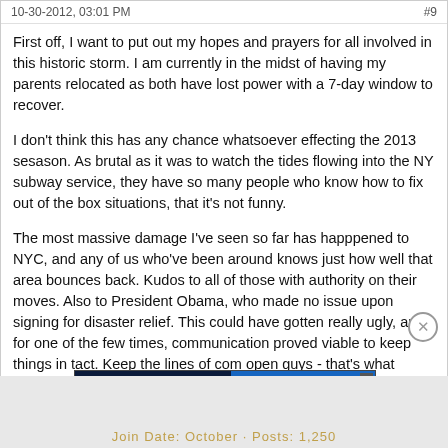10-30-2012, 03:01 PM   #9
First off, I want to put out my hopes and prayers for all involved in this historic storm. I am currently in the midst of having my parents relocated as both have lost power with a 7-day window to recover.

I don't think this has any chance whatsoever effecting the 2013 sesason. As brutal as it was to watch the tides flowing into the NY subway service, they have so many people who know how to fix out of the box situations, that it's not funny.

The most massive damage I've seen so far has happpened to NYC, and any of us who've been around knows just how well that area bounces back. Kudos to all of those with authority on their moves. Also to President Obama, who made no issue upon signing for disaster relief. This could have gotten really ugly, and for one of the few times, communication proved viable to keep things in tact. Keep the lines of com open guys - that's what makes progress possible!!
"Chuckie doesn't take on 2-0. Chuckie's hackin'." - Chuck Carr two days prior to being released by the Milwaukee Brewers
[Figure (infographic): Hulu Disney+ ESPN+ GET THE DISNEY BUNDLE advertisement banner. Dark blue background with streaming service logos on left and blue button on right. Fine print: Incl. Hulu (ad-supported) or Hulu (No Ads). Access content from each service separately. ©2021 Disney and its related entities]